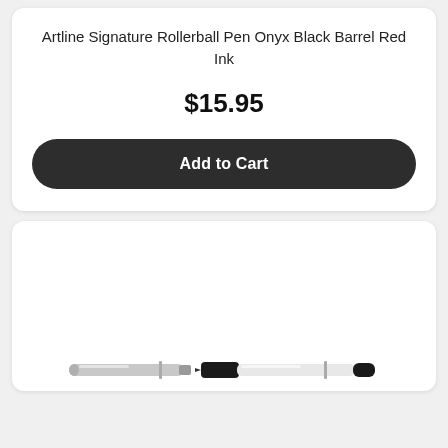Artline Signature Rollerball Pen Onyx Black Barrel Red Ink
$15.95
Add to Cart
[Figure (photo): Product photo of a rollerball pen with a white barrel and black cap/tip, shown disassembled with the cap beside the pen body.]